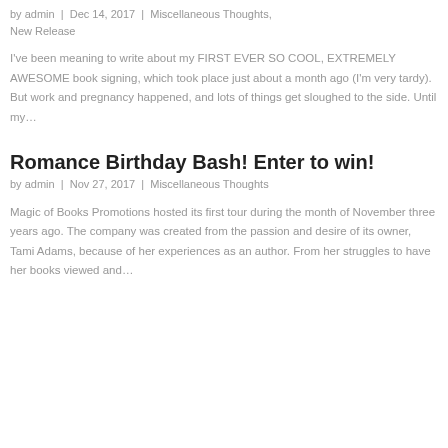by admin | Dec 14, 2017 | Miscellaneous Thoughts, New Release
I've been meaning to write about my FIRST EVER SO COOL, EXTREMELY AWESOME book signing, which took place just about a month ago (I'm very tardy). But work and pregnancy happened, and lots of things get sloughed to the side. Until my…
Romance Birthday Bash! Enter to win!
by admin | Nov 27, 2017 | Miscellaneous Thoughts
Magic of Books Promotions hosted its first tour during the month of November three years ago. The company was created from the passion and desire of its owner, Tami Adams, because of her experiences as an author. From her struggles to have her books viewed and…